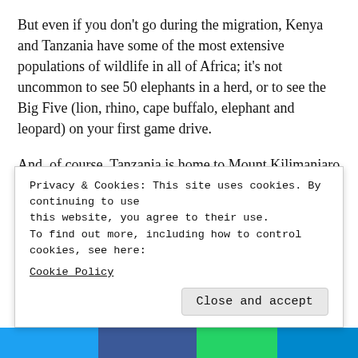But even if you don't go during the migration, Kenya and Tanzania have some of the most extensive populations of wildlife in all of Africa; it's not uncommon to see 50 elephants in a herd, or to see the Big Five (lion, rhino, cape buffalo, elephant and leopard) on your first game drive.
And, of course, Tanzania is home to Mount Kilimanjaro—one of the great bucket-list hiking destinations in the entire world.
When to go: “Avoid the long-rains of April and May. If you’re going to catch the migration, it’s July through
Privacy & Cookies: This site uses cookies. By continuing to use this website, you agree to their use.
To find out more, including how to control cookies, see here:
Cookie Policy
Close and accept